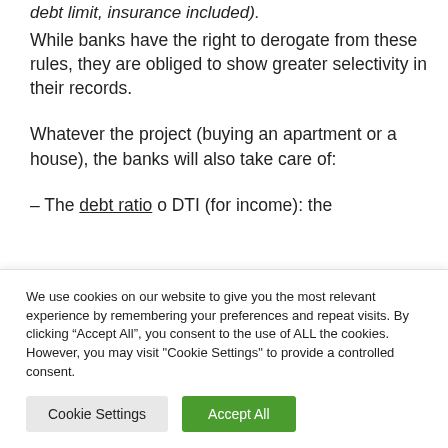debt limit, insurance included).
While banks have the right to derogate from these rules, they are obliged to show greater selectivity in their records.
Whatever the project (buying an apartment or a house), the banks will also take care of:
– The debt ratio o DTI (for income): the
We use cookies on our website to give you the most relevant experience by remembering your preferences and repeat visits. By clicking "Accept All", you consent to the use of ALL the cookies. However, you may visit "Cookie Settings" to provide a controlled consent.